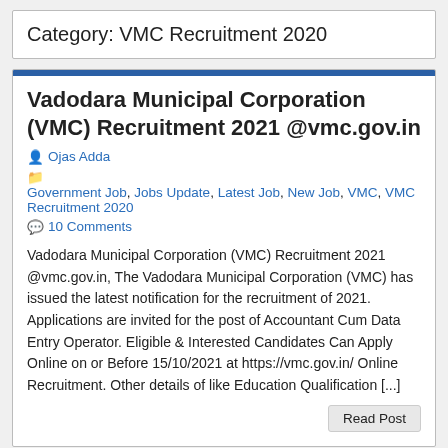Category: VMC Recruitment 2020
Vadodara Municipal Corporation (VMC) Recruitment 2021 @vmc.gov.in
Ojas Adda
Government Job, Jobs Update, Latest Job, New Job, VMC, VMC Recruitment 2020
10 Comments
Vadodara Municipal Corporation (VMC) Recruitment 2021 @vmc.gov.in, The Vadodara Municipal Corporation (VMC) has issued the latest notification for the recruitment of 2021. Applications are invited for the post of Accountant Cum Data Entry Operator. Eligible & Interested Candidates Can Apply Online on or Before 15/10/2021 at https://vmc.gov.in/ Online Recruitment. Other details of like Education Qualification [...]